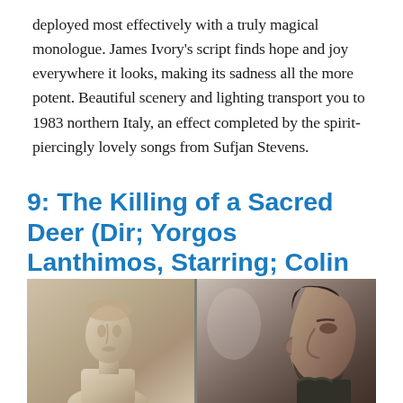deployed most effectively with a truly magical monologue. James Ivory's script finds hope and joy everywhere it looks, making its sadness all the more potent. Beautiful scenery and lighting transport you to 1983 northern Italy, an effect completed by the spirit-piercingly lovely songs from Sufjan Stevens.
9: The Killing of a Sacred Deer (Dir; Yorgos Lanthimos, Starring; Colin Farrell, Barry Keoghan, Nicole Kidman)
[Figure (photo): A still from The Killing of a Sacred Deer showing a marble or stone bust on the left side and a bearded man in profile on the right side, separated by a vertical divider line.]